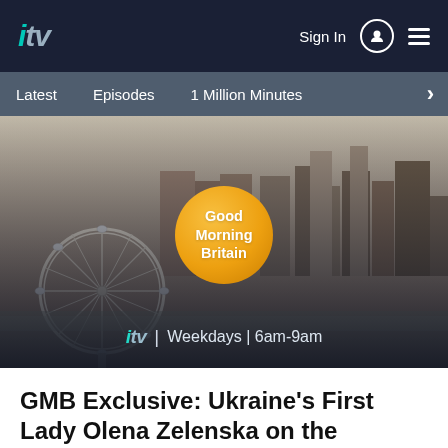ITV | Sign In | Menu
Latest | Episodes | 1 Million Minutes
[Figure (screenshot): Good Morning Britain hero banner showing aerial view of London with the London Eye, River Thames, and city skyline. An orange circular badge reads 'Good Morning Britain'. Below the badge: ITV logo with text 'Weekdays | 6am-9am'.]
GMB Exclusive: Ukraine's First Lady Olena Zelenska on the support the UK has given